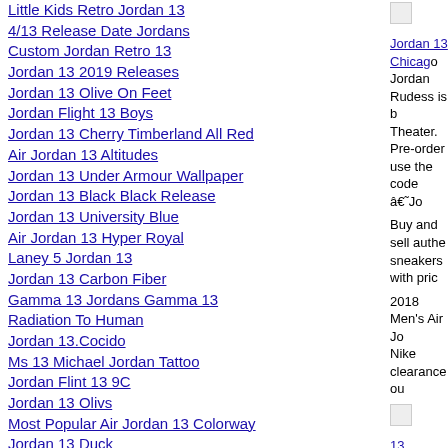Little Kids Retro Jordan 13
4/13 Release Date Jordans
Custom Jordan Retro 13
Jordan 13 2019 Releases
Jordan 13 Olive On Feet
Jordan Flight 13 Boys
Jordan 13 Cherry Timberland All Red
Air Jordan 13 Altitudes
Jordan 13 Under Armour Wallpaper
Jordan 13 Black Black Release
Jordan 13 University Blue
Air Jordan 13 Hyper Royal
Laney 5 Jordan 13
Jordan 13 Carbon Fiber
Gamma 13 Jordans Gamma 13
Radiation To Human
Jordan 13.Cocido
Ms 13 Michael Jordan Tattoo
Jordan Flint 13 9C
Jordan 13 Olivs
Most Popular Air Jordan 13 Colorway
Jordan 13 Duck
Jordan 13 Cherry Yeezy Foams
Platinum
White A Red Jordans 13
Jordan 13 Chicago [link] Jordan Rudess is b Theater. Pre-order use the code â€˜Jo
Buy and sell authe sneakers with pric
2018 Men's Air Jo Nike clearance ou
13 Jordans 13 Jord arrive in four colo Red/University Re Carmel Jordans Re sense that it was Jo accomplishments 13 Retro Jordan 13 Ryan Jones Novem overmatched Clev i lace my jordan 4